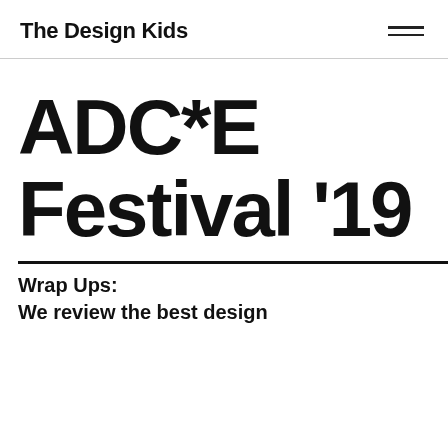The Design Kids
ADC*E Festival '19
Wrap Ups:
We review the best design